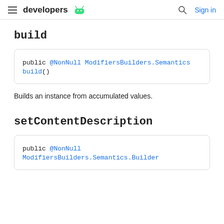developers [android logo] | [search] Sign in
build
public @NonNull ModifiersBuilders.Semantics build()
Builds an instance from accumulated values.
setContentDescription
public @NonNull ModifiersBuilders.Semantics.Builder